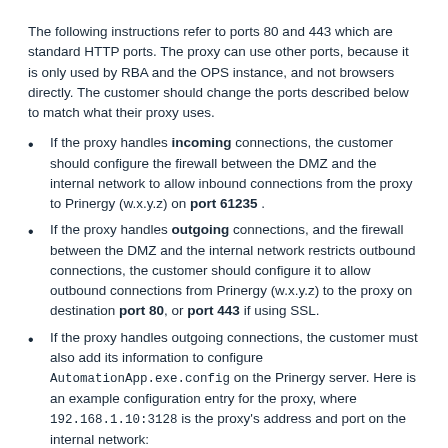The following instructions refer to ports 80 and 443 which are standard HTTP ports. The proxy can use other ports, because it is only used by RBA and the OPS instance, and not browsers directly. The customer should change the ports described below to match what their proxy uses.
If the proxy handles incoming connections, the customer should configure the firewall between the DMZ and the internal network to allow inbound connections from the proxy to Prinergy (w.x.y.z) on port 61235 .
If the proxy handles outgoing connections, and the firewall between the DMZ and the internal network restricts outbound connections, the customer should configure it to allow outbound connections from Prinergy (w.x.y.z) to the proxy on destination port 80, or port 443 if using SSL.
If the proxy handles outgoing connections, the customer must also add its information to configure AutomationApp.exe.config on the Prinergy server. Here is an example configuration entry for the proxy, where 192.168.1.10:3128 is the proxy's address and port on the internal network: